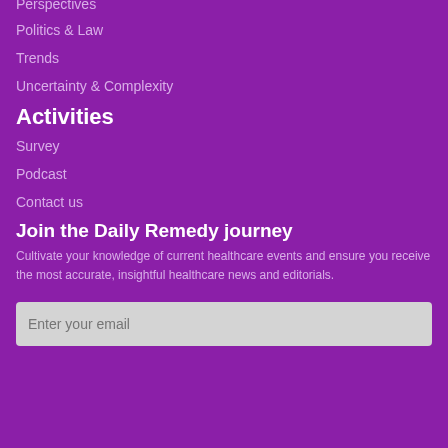Perspectives
Politics & Law
Trends
Uncertainty & Complexity
Activities
Survey
Podcast
Contact us
Join the Daily Remedy journey
Cultivate your knowledge of current healthcare events and ensure you receive the most accurate, insightful healthcare news and editorials.
Enter your email